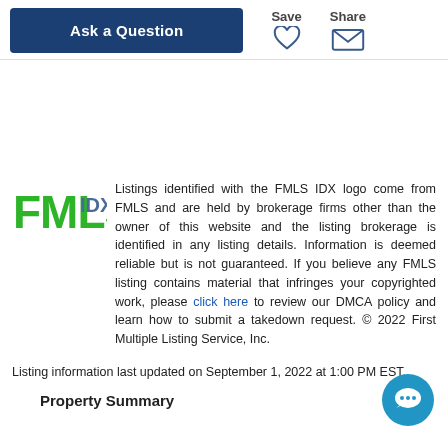Ask a Question | Save | Share
[Figure (logo): FMLS IDX logo — green block letters FMLS with IDX in blue/gray]
Listings identified with the FMLS IDX logo come from FMLS and are held by brokerage firms other than the owner of this website and the listing brokerage is identified in any listing details. Information is deemed reliable but is not guaranteed. If you believe any FMLS listing contains material that infringes your copyrighted work, please click here to review our DMCA policy and learn how to submit a takedown request. © 2022 First Multiple Listing Service, Inc.
Listing information last updated on September 1, 2022 at 1:00 PM EST.
Property Summary